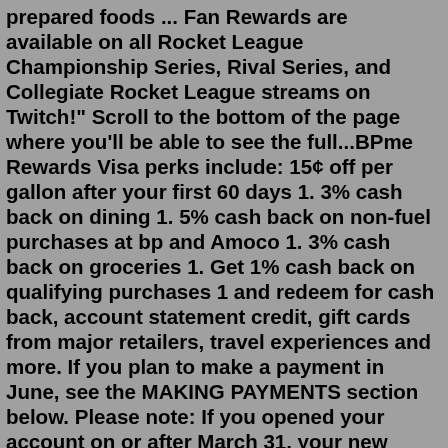prepared foods ... Fan Rewards are available on all Rocket League Championship Series, Rival Series, and Collegiate Rocket League streams on Twitch!" Scroll to the bottom of the page where you'll be able to see the full...BPme Rewards Visa perks include: 15¢ off per gallon after your first 60 days 1. 3% cash back on dining 1. 5% cash back on non-fuel purchases at bp and Amoco 1. 3% cash back on groceries 1. Get 1% cash back on qualifying purchases 1 and redeem for cash back, account statement credit, gift cards from major retailers, travel experiences and more. If you plan to make a payment in June, see the MAKING PAYMENTS section below. Please note: If you opened your account on or after March 31, your new credit card will be mailed between June 20-24. Activate and begin using your card right away. If you opened your account prior to March 31 and have not received your card, please call 866-621-0532. Welcome to the Coan Rewards Program! Customer Loyalty Rewards Program If you are a current Coan Heating & Air